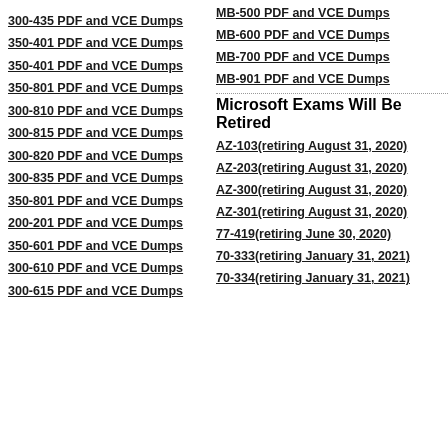MB-500 PDF and VCE Dumps
300-435 PDF and VCE Dumps
MB-600 PDF and VCE Dumps
350-401 PDF and VCE Dumps
MB-700 PDF and VCE Dumps
350-401 PDF and VCE Dumps
MB-901 PDF and VCE Dumps
350-801 PDF and VCE Dumps
300-810 PDF and VCE Dumps
300-815 PDF and VCE Dumps
Microsoft Exams Will Be Retired
300-820 PDF and VCE Dumps
AZ-103(retiring August 31, 2020)
300-835 PDF and VCE Dumps
AZ-203(retiring August 31, 2020)
350-801 PDF and VCE Dumps
AZ-300(retiring August 31, 2020)
200-201 PDF and VCE Dumps
AZ-301(retiring August 31, 2020)
350-601 PDF and VCE Dumps
77-419(retiring June 30, 2020)
300-610 PDF and VCE Dumps
70-333(retiring January 31, 2021)
300-615 PDF and VCE Dumps
70-334(retiring January 31, 2021)